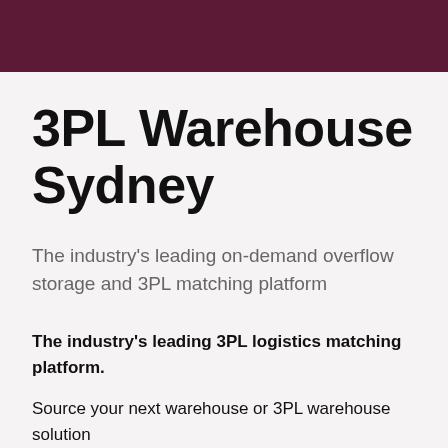3PL Warehouse Sydney
The industry's leading on-demand overflow storage and 3PL matching platform
The industry's leading 3PL logistics matching platform.
Source your next warehouse or 3PL warehouse solution